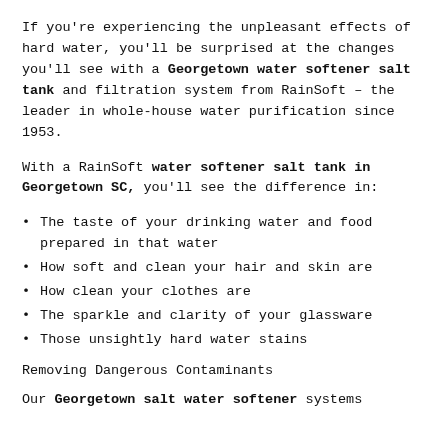If you're experiencing the unpleasant effects of hard water, you'll be surprised at the changes you'll see with a Georgetown water softener salt tank and filtration system from RainSoft – the leader in whole-house water purification since 1953.
With a RainSoft water softener salt tank in Georgetown SC, you'll see the difference in:
The taste of your drinking water and food prepared in that water
How soft and clean your hair and skin are
How clean your clothes are
The sparkle and clarity of your glassware
Those unsightly hard water stains
Removing Dangerous Contaminants
Our Georgetown salt water softener systems